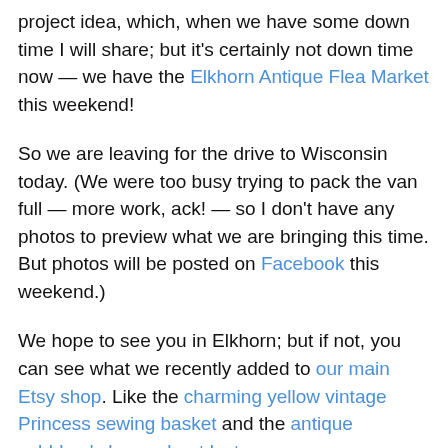project idea, which, when we have some down time I will share; but it's certainly not down time now — we have the Elkhorn Antique Flea Market this weekend!
So we are leaving for the drive to Wisconsin today. (We were too busy trying to pack the van full — more work, ack! — so I don't have any photos to preview what we are bringing this time. But photos will be posted on Facebook this weekend.)
We hope to see you in Elkhorn; but if not, you can see what we recently added to our main Etsy shop. Like the charming yellow vintage Princess sewing basket and the antique cobblers' shoe or boot last.
There is also a new item you can see which...